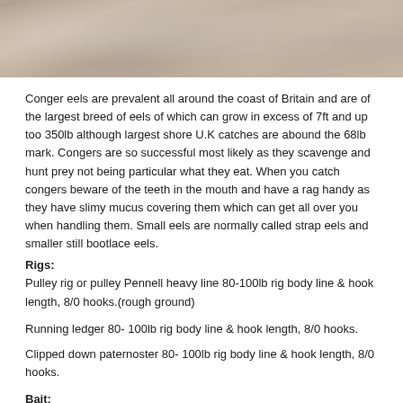[Figure (photo): Top portion of a photograph showing sandy/rocky coastal terrain or seabed, muted brown and beige tones]
Conger eels are prevalent all around the coast of Britain and are of the largest breed of eels of which can grow in excess of 7ft and up too 350lb although largest shore U.K catches are abound the 68lb mark. Congers are so successful most likely as they scavenge and hunt prey not being particular what they eat. When you catch congers beware of the teeth in the mouth and have a rag handy as they have slimy mucus covering them which can get all over you when handling them. Small eels are normally called strap eels and smaller still bootlace eels.
Rigs: Pulley rig or pulley Pennell heavy line 80-100lb rig body line & hook length, 8/0 hooks.(rough ground)
Running ledger 80- 100lb rig body line & hook length, 8/0 hooks.
Clipped down paternoster 80- 100lb rig body line & hook length, 8/0 hooks.
Bait: Mackerel/Herring: Whole mackerel or herring with tail chopped off in a variety of ways you can score the sides, or make two baits and turn into flappers which are effective as they waft the scent and oils around.
Squid: Large squid baits whole and whipped up leaving tentacles free to move as an attractant.